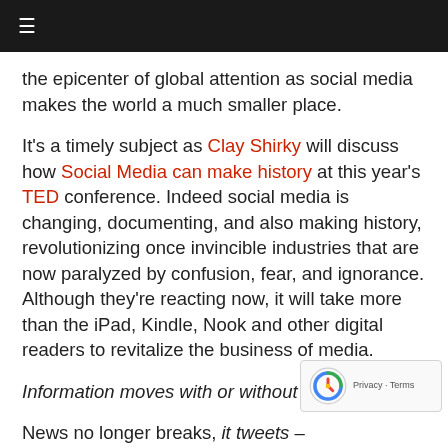≡
the epicenter of global attention as social media makes the world a much smaller place.
It's a timely subject as Clay Shirky will discuss how Social Media can make history at this year's TED conference. Indeed social media is changing, documenting, and also making history, revolutionizing once invincible industries that are now paralyzed by confusion, fear, and ignorance. Although they're reacting now, it will take more than the iPad, Kindle, Nook and other digital readers to revitalize the business of media.
Information moves with or without them…
News no longer breaks, it tweets – demonstrating efficiency, momentum, and influence of the human